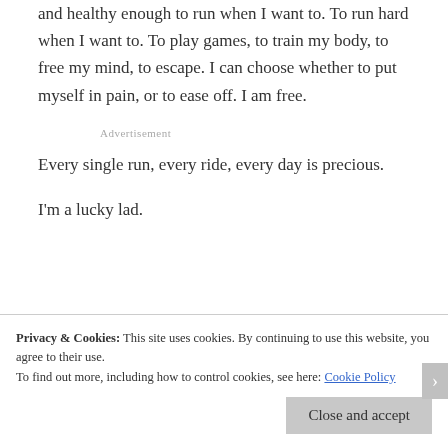and healthy enough to run when I want to. To run hard when I want to. To play games, to train my body, to free my mind, to escape. I can choose whether to put myself in pain, or to ease off. I am free.
Advertisement
Every single run, every ride, every day is precious.
I'm a lucky lad.
Privacy & Cookies: This site uses cookies. By continuing to use this website, you agree to their use. To find out more, including how to control cookies, see here: Cookie Policy